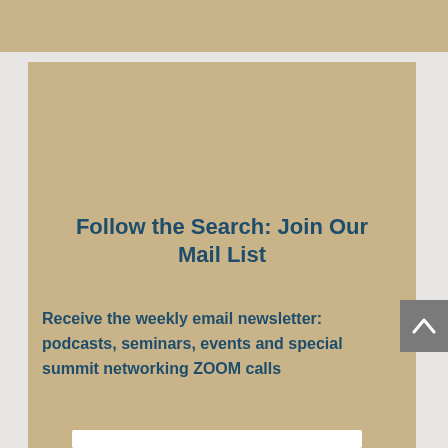[Figure (other): Tan/beige colored top banner strip]
Follow the Search: Join Our Mail List
Receive the weekly email newsletter: podcasts, seminars, events and special summit networking ZOOM calls